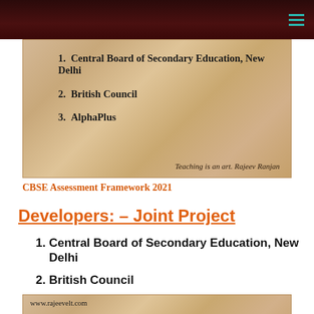[Figure (illustration): Parchment-textured image showing a numbered list: 1. Central Board of Secondary Education, New Delhi; 2. British Council; 3. AlphaPlus. Bottom right watermark reads: Teaching is an art. Rajeev Ranjan]
CBSE Assessment Framework 2021
Developers: – Joint Project
Central Board of Secondary Education, New Delhi
British Council
AlphaPlus
[Figure (illustration): Parchment-textured image with URL www.rajeevelt.com at top and caption: Assessment Framework for CBSE Science, Mathematics and English for Classes 6 to 10]